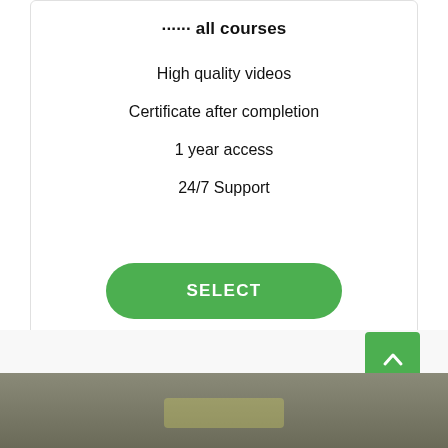Access all courses
High quality videos
Certificate after completion
1 year access
24/7 Support
SELECT
[Figure (photo): Partial photo of a person working at a desk with papers and markers, visible at the bottom of the page]